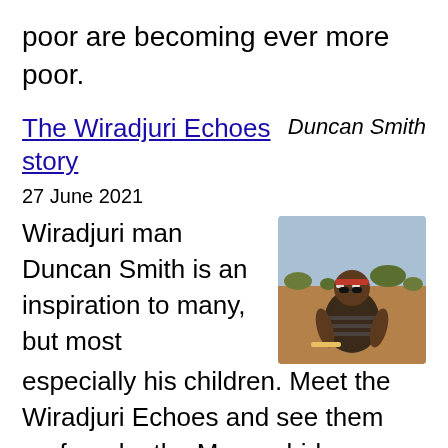poor are becoming ever more poor.
The Wiradjuri Echoes story
Duncan Smith
27 June 2021
[Figure (photo): Photo of Wiradjuri man Duncan Smith outdoors, wearing face paint and a headband, with arid outback landscape in background]
Wiradjuri man Duncan Smith is an inspiration to many, but most especially his children. Meet the Wiradjuri Echoes and see them perform by the Murrumbidgee River. This film was produced for the Canberra Museum &